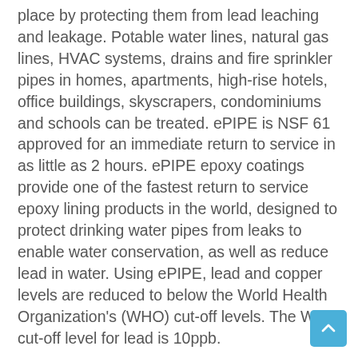place by protecting them from lead leaching and leakage. Potable water lines, natural gas lines, HVAC systems, drains and fire sprinkler pipes in homes, apartments, high-rise hotels, office buildings, skyscrapers, condominiums and schools can be treated. ePIPE is NSF 61 approved for an immediate return to service in as little as 2 hours. ePIPE epoxy coatings provide one of the fastest return to service epoxy lining products in the world, designed to protect drinking water pipes from leaks to enable water conservation, as well as reduce lead in water. Using ePIPE, lead and copper levels are reduced to below the World Health Organization's (WHO) cut-off levels. The WHO cut-off level for lead is 10ppb.